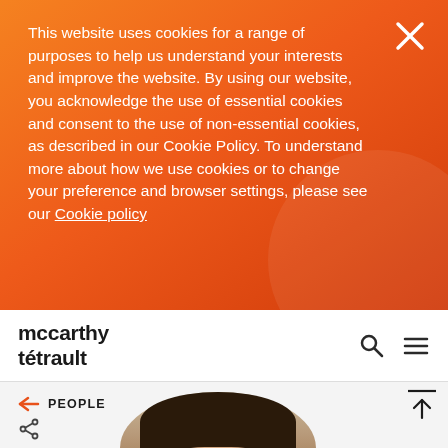This website uses cookies for a range of purposes to help us understand your interests and improve the website. By using our website, you acknowledge the use of essential cookies and consent to the use of non-essential cookies, as described in our Cookie Policy. To understand more about how we use cookies or to change your preference and browser settings, please see our Cookie policy
[Figure (logo): McCarthy Tétrault law firm logo — wordmark in bold dark text on white navbar]
PEOPLE